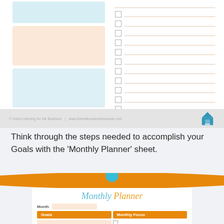[Figure (infographic): Top portion of a monthly planner template showing colored boxes on the left (blue, peach, light blue) and dotted checkbox lines on the right]
© Some Learning for the Business    |    www.SomeBusinessResource.com
Think through the steps needed to accomplish your Goals with the 'Monthly Planner' sheet.
[Figure (infographic): Orange curved banner with a teal circle in the center, above a Monthly Planner sheet preview showing Goals and Monthly Focus columns with checkbox lines]